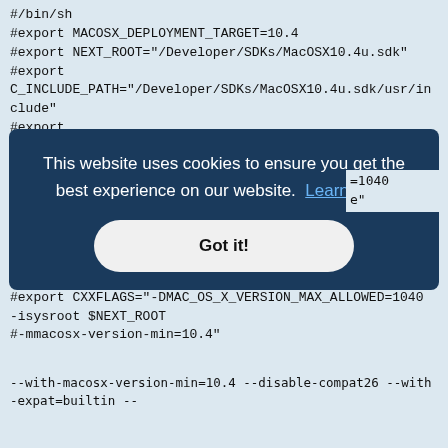#/bin/sh
#export MACOSX_DEPLOYMENT_TARGET=10.4
#export NEXT_ROOT="/Developer/SDKs/MacOSX10.4u.sdk"
#export C_INCLUDE_PATH="/Developer/SDKs/MacOSX10.4u.sdk/usr/include"
#export LIBRARY_PATH="/Developer/SDKs/MacOSX10.4u.sdk/usr/lib/gcc/darwin/3.3"
#export CPPFLAGS="-DMAC_OS_X_VERSION_MAX_ALLOWED=1040 -mmacosx-version-min=10.4"
#export CFLAGS="-DMAC_OS_X_VERSION_MAX_ALLOWED=1040 -isysroot $NEXT_ROOT
#-mmacosx-version-min=10.4"
#export CXXFLAGS="-DMAC_OS_X_VERSION_MAX_ALLOWED=1040 -isysroot $NEXT_ROOT
#-mmacosx-version-min=10.4"
[Figure (screenshot): Cookie consent overlay with text 'This website uses cookies to ensure you get the best experience on our website. Learn more' and a 'Got it!' button]
=1040
e"
--with-macosx-version-min=10.4 --disable-compat26 --with-expat=builtin --